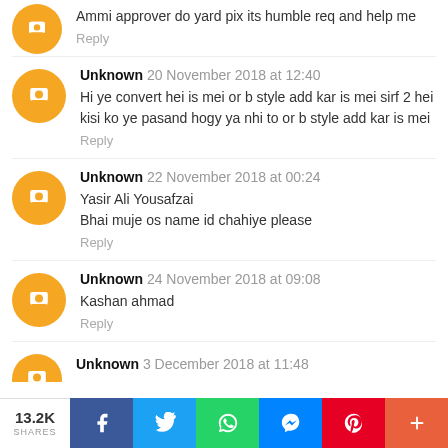Ammi approver do yard pix its humble req and help me
Reply
Unknown 20 November 2018 at 12:40
Hi ye convert hei is mei or b style add kar is mei sirf 2 hei kisi ko ye pasand hogy ya nhi to or b style add kar is mei
Reply
Unknown 22 November 2018 at 00:24
Yasir Ali Yousafzai
Bhai muje os name id chahiye please
Reply
Unknown 24 November 2018 at 09:08
Kashan ahmad
Reply
Unknown 3 December 2018 at 11:48
13.2K SHARES | Facebook | Twitter | WhatsApp | Messenger | Pinterest | More